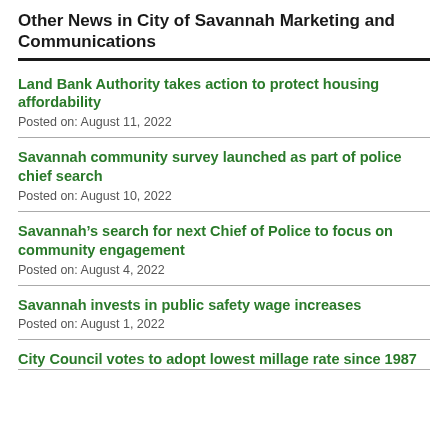Other News in City of Savannah Marketing and Communications
Land Bank Authority takes action to protect housing affordability
Posted on: August 11, 2022
Savannah community survey launched as part of police chief search
Posted on: August 10, 2022
Savannah’s search for next Chief of Police to focus on community engagement
Posted on: August 4, 2022
Savannah invests in public safety wage increases
Posted on: August 1, 2022
City Council votes to adopt lowest millage rate since 1987